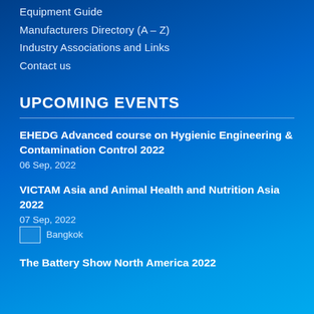Equipment Guide
Manufacturers Directory (A – Z)
Industry Associations and Links
Contact us
UPCOMING EVENTS
EHEDG Advanced course on Hygienic Engineering & Contamination Control 2022
06 Sep, 2022
VICTAM Asia and Animal Health and Nutrition Asia 2022
07 Sep, 2022
Bangkok
The Battery Show North America 2022